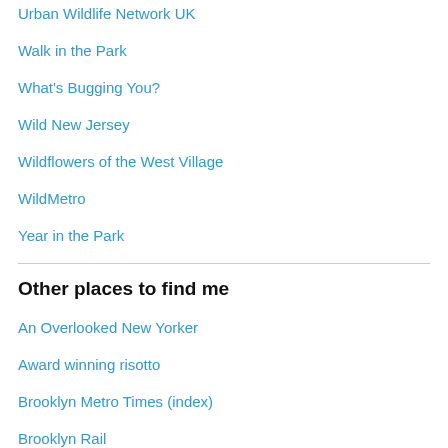Urban Wildlife Network UK
Walk in the Park
What's Bugging You?
Wild New Jersey
Wildflowers of the West Village
WildMetro
Year in the Park
Other places to find me
An Overlooked New Yorker
Award winning risotto
Brooklyn Metro Times (index)
Brooklyn Rail
Diode
Huffington Post Blogging
Humans and Nature
iNaturalist
Instagram
JSTOR Daily